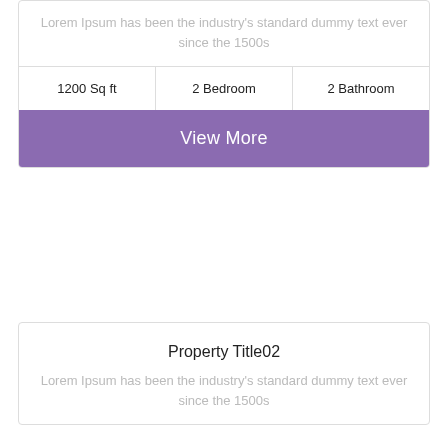Lorem Ipsum has been the industry's standard dummy text ever since the 1500s
| 1200 Sq ft | 2 Bedroom | 2 Bathroom |
| --- | --- | --- |
View More
Property Title02
Lorem Ipsum has been the industry's standard dummy text ever since the 1500s